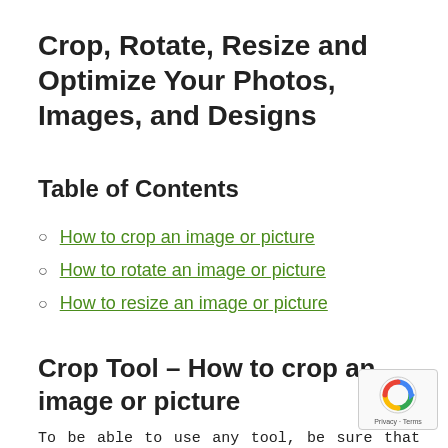Crop, Rotate, Resize and Optimize Your Photos, Images, and Designs
Table of Contents
How to crop an image or picture
How to rotate an image or picture
How to resize an image or picture
Crop Tool – How to crop an image or picture
To be able to use any tool, be sure that you have